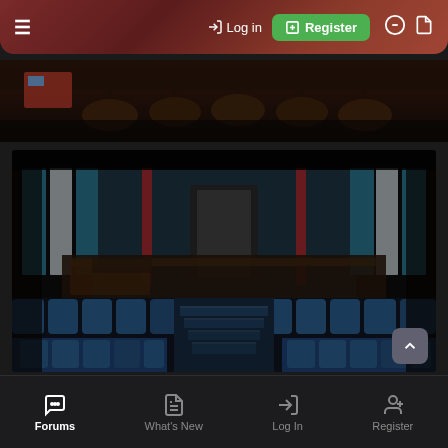Log in | Register
[Figure (photo): Partial view of an abandoned theater ceiling with hanging light fixtures and seating]
[Figure (photo): Interior of an abandoned theater showing rows of blue seats, debris on the floor, blue walls with vertical panels, and a central aisle leading to the back of the auditorium]
Forums | What's New | Log In | Register